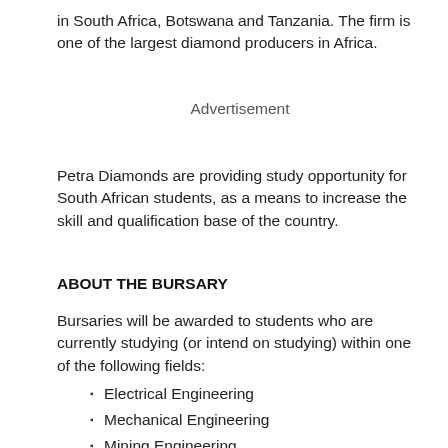in South Africa, Botswana and Tanzania. The firm is one of the largest diamond producers in Africa.
Advertisement
Petra Diamonds are providing study opportunity for South African students, as a means to increase the skill and qualification base of the country.
ABOUT THE BURSARY
Bursaries will be awarded to students who are currently studying (or intend on studying) within one of the following fields:
Electrical Engineering
Mechanical Engineering
Mining Engineering